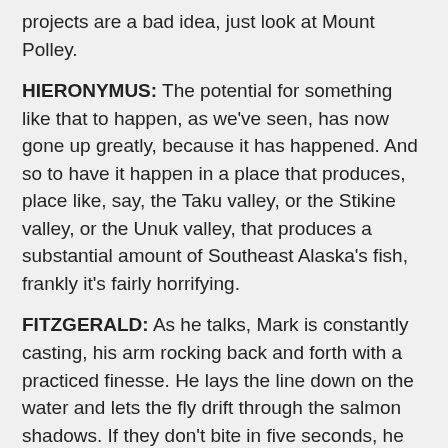projects are a bad idea, just look at Mount Polley.
HIERONYMUS: The potential for something like that to happen, as we've seen, has now gone up greatly, because it has happened. And so to have it happen in a place that produces, place like, say, the Taku valley, or the Stikine valley, or the Unuk valley, that produces a substantial amount of Southeast Alaska's fish, frankly it's fairly horrifying.
FITZGERALD: As he talks, Mark is constantly casting, his arm rocking back and forth with a practiced finesse. He lays the line down on the water and lets the fly drift through the salmon shadows. If they don't bite in five seconds, he yanks it out and starts again. For Mark, protecting fish is a personal economic issue. He's had a lot of different jobs since moving to Juneau 25 years ago